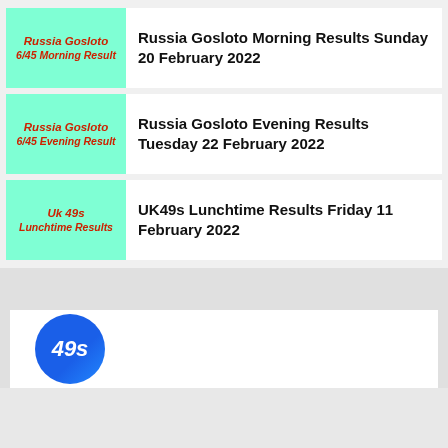[Figure (illustration): Cyan/mint green thumbnail image with red italic bold text: Russia Gosloto / 6/45 Morning Result]
Russia Gosloto Morning Results Sunday 20 February 2022
[Figure (illustration): Cyan/mint green thumbnail image with red italic bold text: Russia Gosloto / 6/45 Evening Result]
Russia Gosloto Evening Results Tuesday 22 February 2022
[Figure (illustration): Cyan/mint green thumbnail image with red italic bold text: Uk 49s / Lunchtime Results]
UK49s Lunchtime Results Friday 11 February 2022
[Figure (logo): Partial blue circular lottery logo at bottom of page]